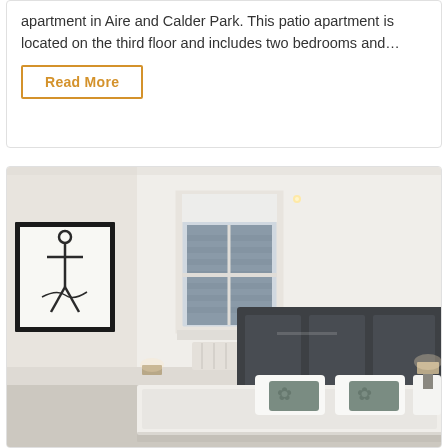apartment in Aire and Calder Park. This patio apartment is located on the third floor and includes two bedrooms and…
Read More
[Figure (photo): Interior bedroom photo showing a bright white room with a dark charcoal upholstered headboard bed, decorative pillows, a sash window with roller blind, a black-framed abstract artwork on the left wall, and recessed ceiling lighting. The room has a contemporary minimal style.]